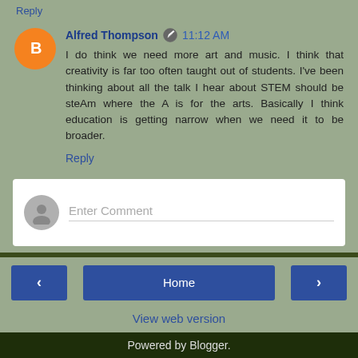Reply
Alfred Thompson  11:12 AM
I do think we need more art and music. I think that creativity is far too often taught out of students. I've been thinking about all the talk I hear about STEM should be steAm where the A is for the arts. Basically I think education is getting narrow when we need it to be broader.
Reply
Enter Comment
Home
View web version
Powered by Blogger.